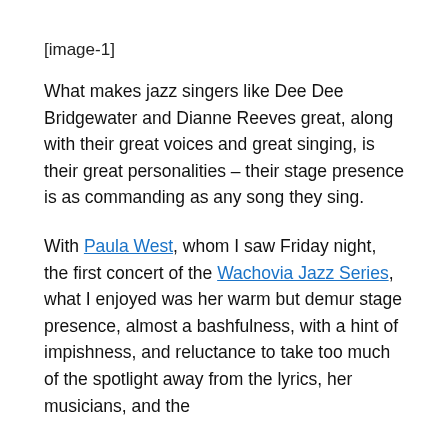[image-1]
What makes jazz singers like Dee Dee Bridgewater and Dianne Reeves great, along with their great voices and great singing, is their great personalities – their stage presence is as commanding as any song they sing.
With Paula West, whom I saw Friday night, the first concert of the Wachovia Jazz Series, what I enjoyed was her warm but demur stage presence, almost a bashfulness, with a hint of impishness, and reluctance to take too much of the spotlight away from the lyrics, her musicians, and the